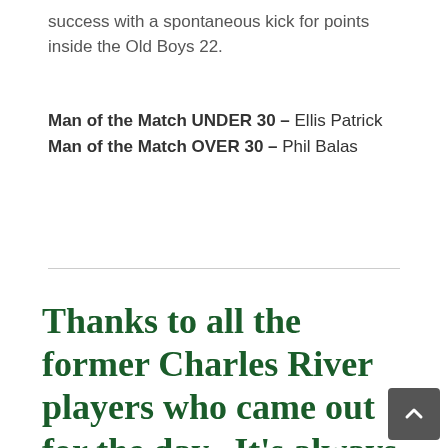success with a spontaneous kick for points inside the Old Boys 22.
Man of the Match UNDER 30 – Ellis Patrick
Man of the Match OVER 30 – Phil Balas
Thanks to all the former Charles River players who came out for the day.  It's always amazing to see you and reconnect with those Rats that